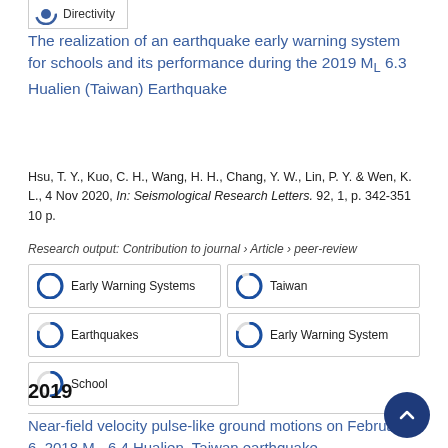[Figure (other): Directivity badge/icon with partial circle graphic at top]
The realization of an earthquake early warning system for schools and its performance during the 2019 ML 6.3 Hualien (Taiwan) Earthquake
Hsu, T. Y., Kuo, C. H., Wang, H. H., Chang, Y. W., Lin, P. Y. & Wen, K. L., 4 Nov 2020, In: Seismological Research Letters. 92, 1, p. 342-351 10 p.
Research output: Contribution to journal › Article › peer-review
100% Early Warning Systems
90% Taiwan
80% Earthquakes
80% Early Warning System
50% School
2019
Near-field velocity pulse-like ground motions on February 6, 2018 Mw 6.4 Hualien, Taiwan earthquake